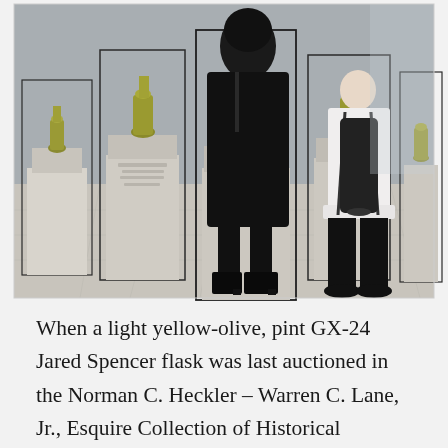[Figure (photo): Museum gallery scene showing two visitors viewed from behind — a woman in black coat and boots on the left, a man in white shirt with black drawstring backpack on the right — standing among multiple tall white pedestals with glass vitrines containing yellow-olive colored ceramic flasks/bottles in a spacious gallery with light stone floors.]
When a light yellow-olive, pint GX-24 Jared Spencer flask was last auctioned in the Norman C. Heckler – Warren C. Lane, Jr., Esquire Collection of Historical Connecticut